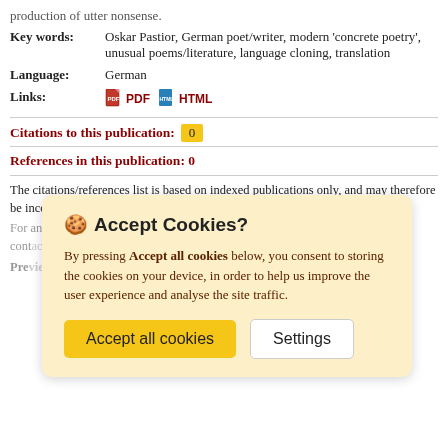production of utter nonsense.
Key words: Oskar Pastior, German poet/writer, modern 'concrete poetry', unusual poems/literature, language cloning, translation
Language: German
Links: PDF HTML
Citations to this publication: 0
References in this publication: 0
The citations/references list is based on indexed publications only, and may therefore be incomplete.
For any and all inquiries related to the database, please contact us at contact@...
Preview
🍪 Accept Cookies? By pressing Accept all cookies below, you consent to storing the cookies on your device, in order to help us improve the user experience and analyse the site traffic.
Accept all cookies  Settings